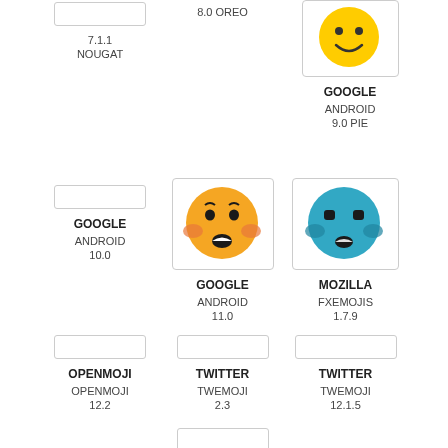[Figure (infographic): Emoji comparison chart showing 'flushed face' emoji across multiple platforms. Top row: Google Android 7.1.1 Nougat (placeholder), Google Android 8.0 Oreo (yellow smiley), Google Android 9.0 Pie (yellow smiling face). Middle row: Google Android 10.0 (placeholder), Google Android 11.0 (yellow flushed face emoji), Mozilla FxEmojis 1.7.9 (blue flushed face emoji). Bottom row: OpenMoji OpenMoji 12.2 (placeholder), Twitter Twemoji 2.3 (placeholder), Twitter Twemoji 12.1.5 (placeholder), and one more placeholder at bottom center.]